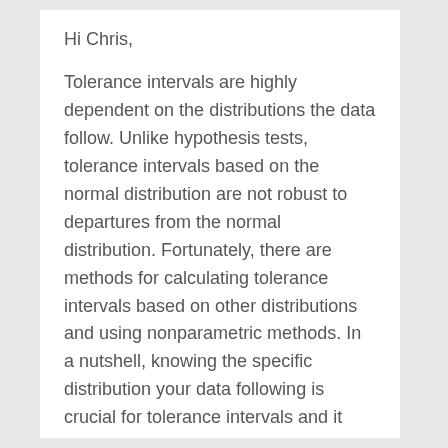Hi Chris,
Tolerance intervals are highly dependent on the distributions the data follow. Unlike hypothesis tests, tolerance intervals based on the normal distribution are not robust to departures from the normal distribution. Fortunately, there are methods for calculating tolerance intervals based on other distributions and using nonparametric methods. In a nutshell, knowing the specific distribution your data following is crucial for tolerance intervals and it affects how you calculate them.
It's rather too involved to handle all